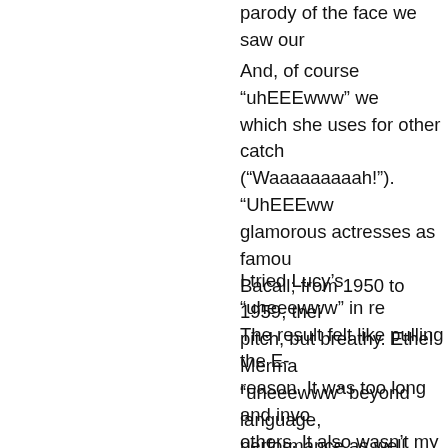parody of the face we saw our
And, of course “uhEEEwww” we which she uses for other catch (“Waaaaaaaaah!”). “UhEEEww glamorous actresses as famou Bacall; from 1950 to 1959, thei pitch, but breathy. Ethel Merma “uheeewww” beyond language, performance as well.
I tried Lucy’s “uheeewww” in re The result felt like pulling the E- reason. It was too long and invo others. It also wasn’t my bit to l on the little line. The play is not for an aria of bits and pratfalls. had their backs to me. The sad